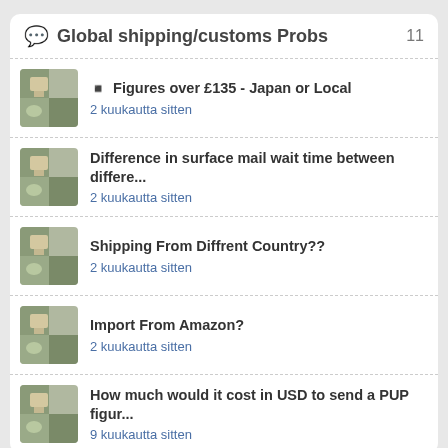Global shipping/customs Probs  11
Figures over £135 - Japan or Local
2 kuukautta sitten
Difference in surface mail wait time between differe...
2 kuukautta sitten
Shipping From Diffrent Country??
2 kuukautta sitten
Import From Amazon?
2 kuukautta sitten
How much would it cost in USD to send a PUP figur...
9 kuukautta sitten